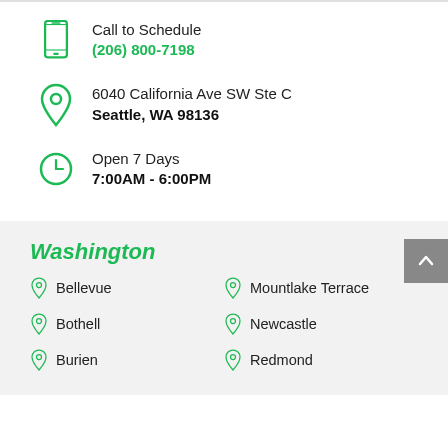Call to Schedule
(206) 800-7198
6040 California Ave SW Ste C
Seattle, WA 98136
Open 7 Days
7:00AM - 6:00PM
Washington
Bellevue
Mountlake Terrace
Bothell
Newcastle
Burien
Redmond